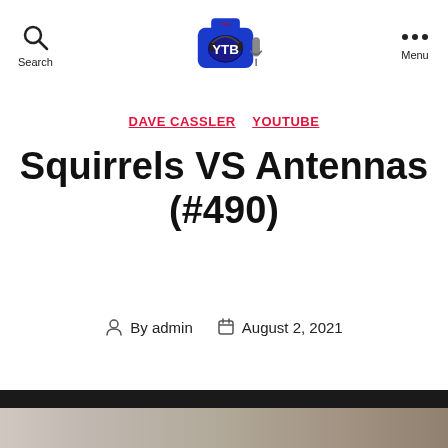Search | [YTB Logo] | Menu
DAVE CASSLER   YOUTUBE
Squirrels VS Antennas (#490)
By admin   August 2, 2021
[Figure (photo): Dark bar and partial photo strip at bottom of page showing blurry squirrel/animal image]